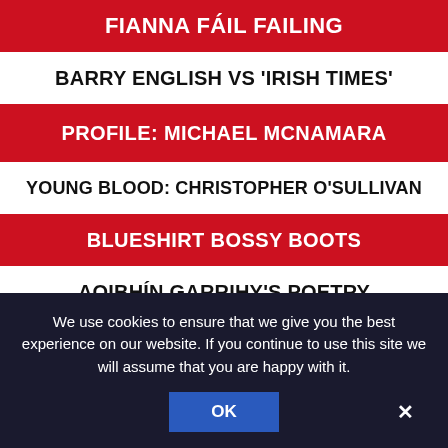FIANNA FÁIL FAILING
BARRY ENGLISH VS 'IRISH TIMES'
PROFILE: MICHAEL MCNAMARA
YOUNG BLOOD: CHRISTOPHER O'SULLIVAN
BLUESHIRT BOSSY BOOTS
AOIBHÍN GARRIHY'S POETRY
MEL GIBSON'S MOVIE BLUES
MICK SMURFIT'S DISPOSALS
We use cookies to ensure that we give you the best experience on our website. If you continue to use this site we will assume that you are happy with it.